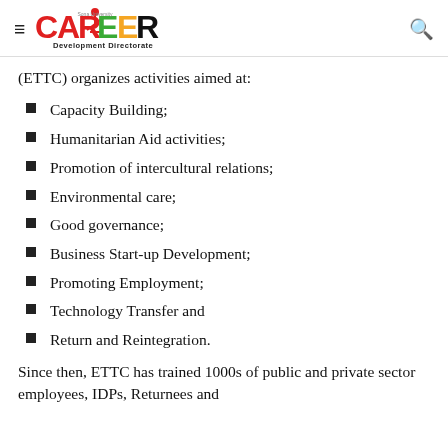CAREER Development Directorate
(ETTC) organizes activities aimed at:
Capacity Building;
Humanitarian Aid activities;
Promotion of intercultural relations;
Environmental care;
Good governance;
Business Start-up Development;
Promoting Employment;
Technology Transfer and
Return and Reintegration.
Since then, ETTC has trained 1000s of public and private sector employees, IDPs, Returnees and